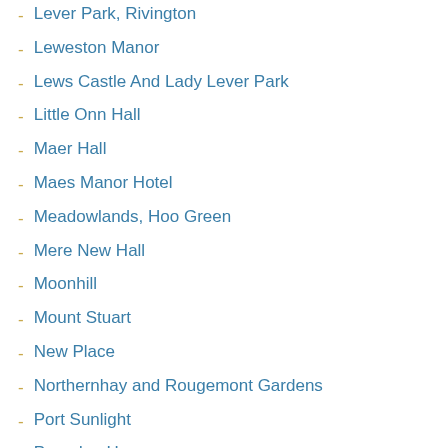Lever Park, Rivington
Leweston Manor
Lews Castle And Lady Lever Park
Little Onn Hall
Maer Hall
Maes Manor Hotel
Meadowlands, Hoo Green
Mere New Hall
Moonhill
Mount Stuart
New Place
Northernhay and Rougemont Gardens
Port Sunlight
Poundon House
Queen's Garden